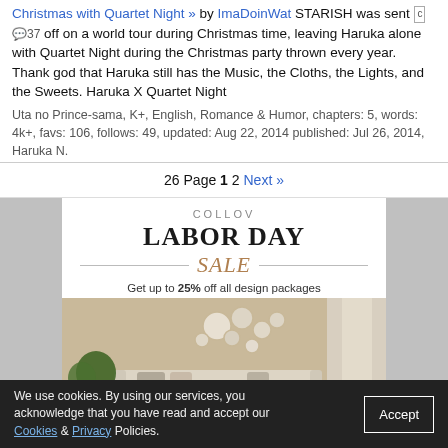Christmas with Quartet Night » by ImaDoinWat STARISH was sent off on a world tour during Christmas time, leaving Haruka alone with Quartet Night during the Christmas party thrown every year. Thank god that Haruka still has the Music, the Cloths, the Lights, and the Sweets. Haruka X Quartet Night
Uta no Prince-sama, K+, English, Romance & Humor, chapters: 5, words: 4k+, favs: 106, follows: 49, updated: Aug 22, 2014 published: Jul 26, 2014, Haruka N.
26 Page 1 2 Next »
[Figure (advertisement): COLLOV Labor Day Sale advertisement. Text: COLLOV LABOR DAY SALE - Get up to 25% off all design packages. Interior living room photo with sofa, pillows, wall plates decor, plant. Bottom section shows illustration of person reading with START A PROJECT button.]
We use cookies. By using our services, you acknowledge that you have read and accept our Cookies & Privacy Policies.